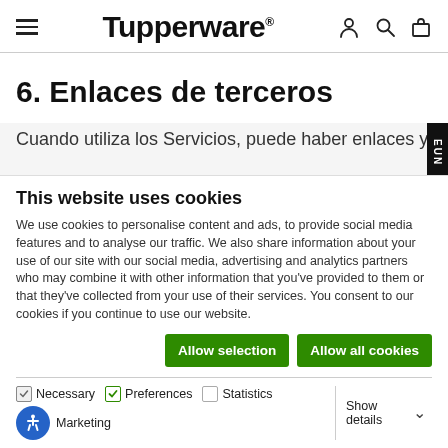Tupperware® — navigation header with menu, logo, and icons
6. Enlaces de terceros
Cuando utiliza los Servicios, puede haber enlaces y se u…
This website uses cookies
We use cookies to personalise content and ads, to provide social media features and to analyse our traffic. We also share information about your use of our site with our social media, advertising and analytics partners who may combine it with other information that you've provided to them or that they've collected from your use of their services. You consent to our cookies if you continue to use our website.
Allow selection | Allow all cookies
Necessary | Preferences | Statistics | Show details | Marketing